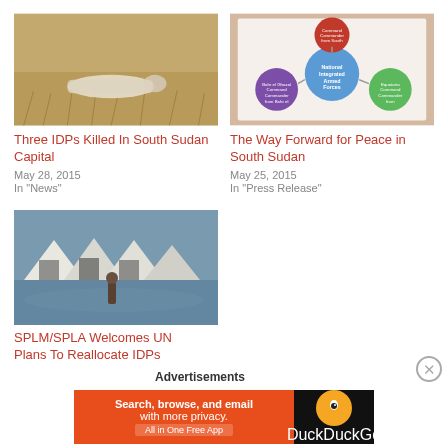[Figure (photo): Person lying on dry ground in South Sudan]
Three IDPs Killed In South Sudan Capital
May 28, 2015
In "News"
[Figure (diagram): Organizational diagram showing National Integrated Armed Forces with connected command nodes in red, blue, purple and green circles]
The Way Forward for Peace in South Sudan
May 25, 2015
In "Press Release"
[Figure (photo): Flooded IDP camp with tents and water-logged ground]
SPLM/SPLA Welcomes UN Plans To Reallocate IDPs Camps to Rebel Held Areas
Advertisements
[Figure (screenshot): DuckDuckGo advertisement banner: Search, browse, and email with more privacy. All in One Free App]